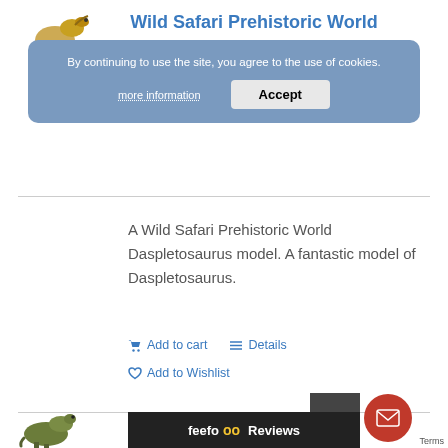Wild Safari Prehistoric World
By continuing to use the site, you agree to the use of cookies.
more information
Accept
A Wild Safari Prehistoric World Daspletosaurus model. A fantastic model of Daspletosaurus.
Add to cart   Details
Add to Wishlist
Mythical Realms Armour
feefo Reviews